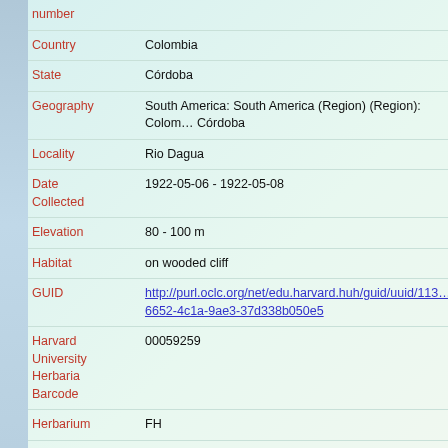number
Country: Colombia
State: Córdoba
Geography: South America: South America (Region) (Region): Colombia: Córdoba
Locality: Rio Dagua
Date Collected: 1922-05-06 - 1922-05-08
Elevation: 80 - 100 m
Habitat: on wooded cliff
GUID: http://purl.oclc.org/net/edu.harvard.huh/guid/uuid/113...6652-4c1a-9ae3-37d338b050e5
Harvard University Herbaria Barcode: 00059259
Herbarium: FH
Family: Hookeriaceae
Determination: Thamniopsis colombica (Williams) B. H. Allen
Determined by: B. H. Allen (MO)
Date: 2007